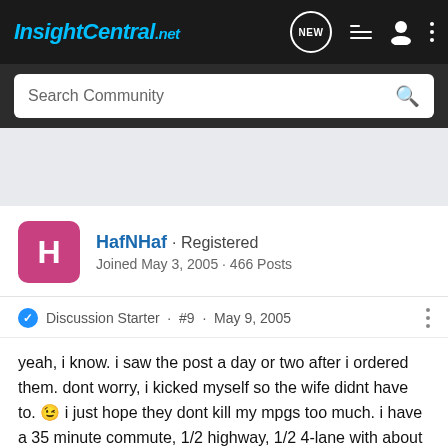InsightCentral.net — navigation bar with NEW, list, person, and dots icons
Search Community
HafNHaf · Registered
Joined May 3, 2005 · 466 Posts
Discussion Starter · #9 · May 9, 2005
yeah, i know. i saw the post a day or two after i ordered them. dont worry, i kicked myself so the wife didnt have to. 😉 i just hope they dont kill my mpgs too much. i have a 35 minute commute, 1/2 highway, 1/2 4-lane with about 6-8 stoplights. i plan to keep up with traffic (65-70) on my way to work, and cruise about 60 on the way home (no traffic at midnight). not much in the way of hills. hoping to get about 60-65 mpg